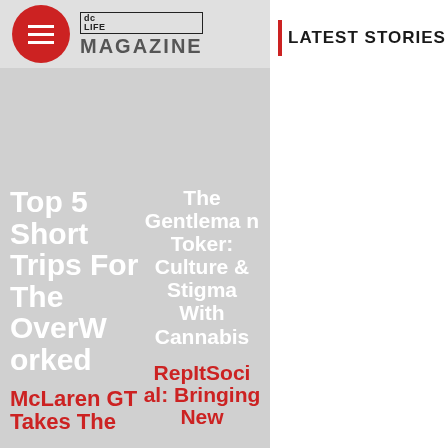DC LIFE MAGAZINE
LATEST STORIES
Top 5 Short Trips For The Overworked
The Gentleman Toker: Culture & Stigma With Cannabis
McLaren GT Takes The
RepItSocial: Bringing New